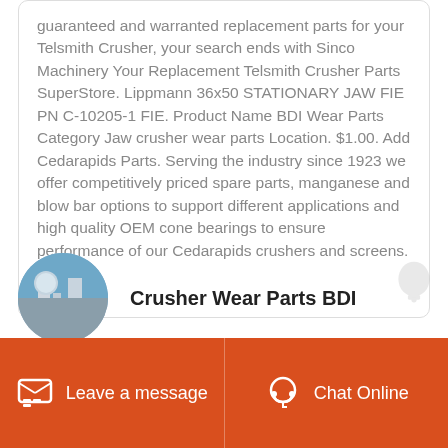guaranteed and warranted replacement parts for your Telsmith Crusher, your search ends with Sinco Machinery Your Replacement Telsmith Crusher Parts SuperStore. Lippmann 36x50 STATIONARY JAW FIE PN C-10205-1 FIE. Product Name BDI Wear Parts Category Jaw crusher wear parts Location. $1.00. Add Cedarapids Parts. Serving the industry since 1923 we offer competitively priced spare parts, manganese and blow bar options to support different applications and high quality OEM cone bearings to ensure performance of our Cedarapids crushers and screens.
[Figure (photo): Circular avatar photo showing industrial/crusher machinery against blue sky]
Crusher Wear Parts BDI
Leave a message
Chat Online